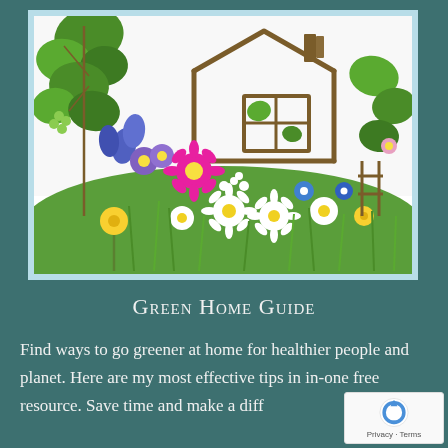[Figure (illustration): A decorative illustration of a house made from twigs/sticks surrounded by colorful wildflowers including daisies, dandelions, purple and blue flowers, and green foliage against a white background.]
Green Home Guide
Find ways to go greener at home for healthier people and planet. Here are my most effective tips in in-one free resource. Save time and make a diff